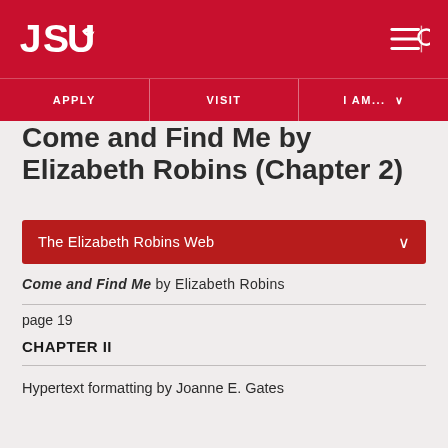JSU | APPLY | VISIT | I AM...
Come and Find Me by Elizabeth Robins (Chapter 2)
The Elizabeth Robins Web
Come and Find Me by Elizabeth Robins
page 19
CHAPTER II
Hypertext formatting by Joanne E. Gates